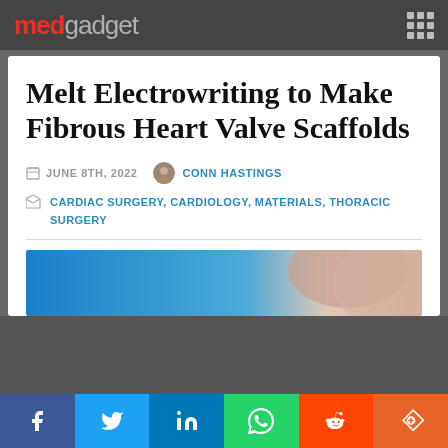medgadget
Melt Electrowriting to Make Fibrous Heart Valve Scaffolds
JUNE 8TH, 2022  CONN HASTINGS
CARDIAC SURGERY, CARDIOLOGY, MATERIALS, THORACIC SURGERY
[Figure (photo): Partial view of a blue and skin-tone object, likely a medical device or tissue sample]
f  t  in  WhatsApp  Reddit  StumbleUpon share buttons